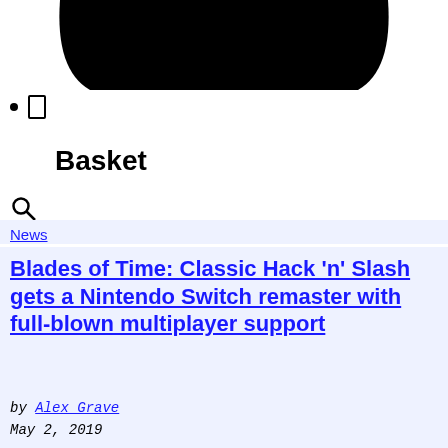[Figure (illustration): Bottom portion of a shopping basket/cart icon in black on white background]
• □
Basket
[Figure (illustration): Search/magnifying glass icon]
News
Blades of Time: Classic Hack 'n' Slash gets a Nintendo Switch remaster with full-blown multiplayer support
by Alex Grave
May 2, 2019